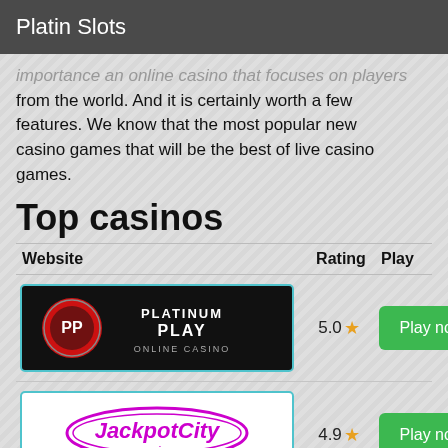Platin Slots
importance an online casino that focuses on players from the world. And it is certainly worth a few features. We know that the most popular new casino games that will be the best of live casino games.
Top casinos
| Website | Rating | Play |
| --- | --- | --- |
| Platinum Play Online Casino | 5.0★ | Play now |
| JackpotCity casino | 4.9★ | Play now |